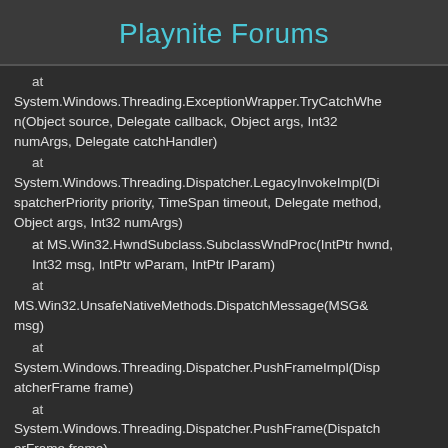Playnite Forums
at System.Windows.Threading.ExceptionWrapper.TryCatchWhen(Object source, Delegate callback, Object args, Int32 numArgs, Delegate catchHandler)
  at System.Windows.Threading.Dispatcher.LegacyInvokeImpl(DispatcherPriority priority, TimeSpan timeout, Delegate method, Object args, Int32 numArgs)
  at MS.Win32.HwndSubclass.SubclassWndProc(IntPtr hwnd, Int32 msg, IntPtr wParam, IntPtr lParam)
  at MS.Win32.UnsafeNativeMethods.DispatchMessage(MSG& msg)
  at System.Windows.Threading.Dispatcher.PushFrameImpl(DispatcherFrame frame)
  at System.Windows.Threading.Dispatcher.PushFrame(DispatcherFrame frame)